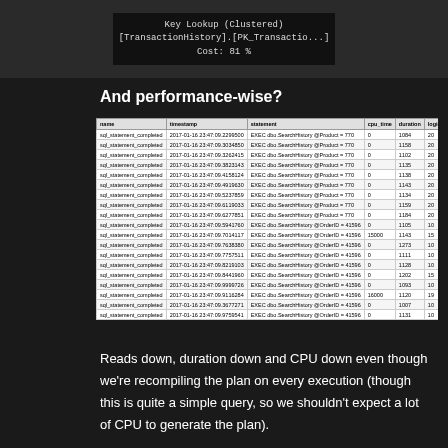[Figure (screenshot): Screenshot showing Key Lookup (Clustered) on [TransactionHistory].[PK_Transactio...] Cost: 81%]
And performance-wise?
| name | timestamp | statement | cpu_time | duration | logical_reads |
| --- | --- | --- | --- | --- | --- |
| sql_statement_completed | 2017-01-16 23:47:09.2299500 | EXEC dbo.SearchHistory @Product = 770 | 0 | 1084 | 20 |
| sql_statement_completed | 2017-01-16 23:47:09.3034850 | EXEC dbo.SearchHistory @Product = 770 | 0 | 1158 | 20 |
| sql_statement_completed | 2017-01-16 23:47:09.3262415 | EXEC dbo.SearchHistory @Product = 770 | 0 | 1102 | 20 |
| sql_statement_completed | 2017-01-16 23:47:09.3823143 | EXEC dbo.SearchHistory @Product = 770 | 0 | 1135 | 20 |
| sql_statement_completed | 2017-01-16 23:47:09.4158124 | EXEC dbo.SearchHistory @Product = 770 | 0 | 1138 | 20 |
| sql_statement_completed | 2017-01-16 23:47:09.4919630 | EXEC dbo.SearchHistory @Product = 770 | 0 | 1143 | 20 |
| sql_statement_completed | 2017-01-16 23:47:09.5237859 | EXEC dbo.SearchHistory @Product = 770 | 0 | 1134 | 20 |
| sql_statement_completed | 2017-01-16 23:47:09.6119033 | EXEC dbo.SearchHistory @Product = 770 | 0 | 1159 | 20 |
| sql_statement_completed | 2017-01-16 23:47:09.6277851 | EXEC dbo.SearchHistory @Product = 770 | 0 | 1184 | 20 |
| sql_statement_completed | 2017-01-16 23:47:09.5941760 | EXEC dbo.SearchHistory @OrderID = 41596 | 0 | 1105 | 10 |
| sql_statement_completed | 2017-01-16 23:47:09.7014117 | EXEC dbo.SearchHistory @OrderID = 41596 | 15000 | 1143 | 15 |
| sql_statement_completed | 2017-01-16 23:47:09.7638380 | EXEC dbo.SearchHistory @OrderID = 41596 | 0 | 1273 | 10 |
| sql_statement_completed | 2017-01-16 23:47:09.7757511 | EXEC dbo.SearchHistory @OrderID = 41596 | 0 | 1111 | 10 |
| sql_statement_completed | 2017-01-16 23:47:09.8219103 | EXEC dbo.SearchHistory @OrderID = 41596 | 0 | 1128 | 10 |
| sql_statement_completed | 2017-01-16 23:47:09.8441960 | EXEC dbo.SearchHistory @OrderID = 41596 | 0 | 1202 | 15 |
| sql_statement_completed | 2017-01-16 23:47:09.9999726 | EXEC dbo.SearchHistory @OrderID = 41596 | 0 | 1093 | 10 |
| sql_statement_completed | 2017-01-16 23:47:09.9116284 | EXEC dbo.SearchHistory @OrderID = 41596 | 16000 | 1120 | 19 |
| sql_statement_completed | 2017-01-16 23:47:09.3677271 | EXEC dbo.SearchHistory @OrderID = 41596 | 0 | 1007 | 10 |
| sql_statement_completed | 2017-01-16 23:47:09.9759541 | EXEC dbo.SearchHistory @OrderID = 41596 | 0 | 1131 | 10 |
Reads down, duration down and CPU down even though we're recompiling the plan on every execution (though this is quite a simple query, so we shouldn't expect a lot of CPU to generate the plan).